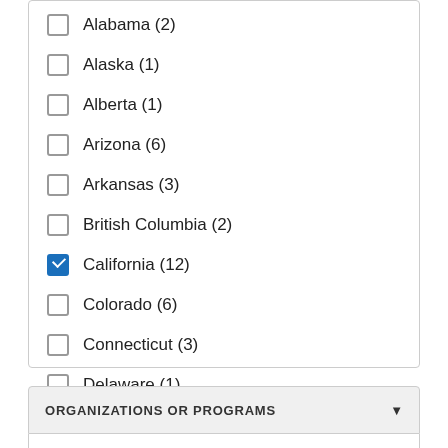Alabama (2)
Alaska (1)
Alberta (1)
Arizona (6)
Arkansas (3)
British Columbia (2)
California (12) [checked]
Colorado (6)
Connecticut (3)
Delaware (1)
Show more
ORGANIZATIONS OR PROGRAMS